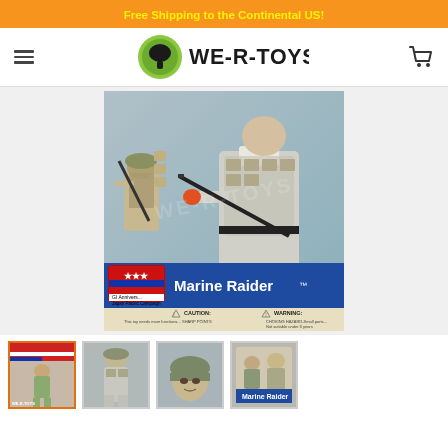Free Shipping to the Continental US!
[Figure (logo): WE-R-TOYS logo with green circular icon and text]
[Figure (photo): GI Joe Marine Raider action figure product package photo showing two military figures, one in tan uniform with equipment and one in gray uniform with helmet, with 'Marine Raider' label on blue background and caution/warning text at bottom]
[Figure (photo): Thumbnail 1: GI Joe box front with American flag and soldier]
[Figure (photo): Thumbnail 2: Close-up of Marine Raider figure in gray uniform]
[Figure (photo): Thumbnail 3: Close-up of figure face with helmet]
[Figure (photo): Thumbnail 4: Marine Raider product box]